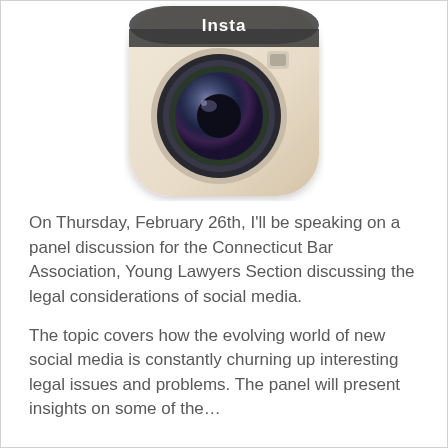[Figure (logo): Instagram app icon — rounded square with beige/cream gradient background, camera lens in center with dark multi-colored rings, small viewfinder in top right, 'Insta' text label at top]
On Thursday, February 26th, I'll be speaking on a panel discussion for the Connecticut Bar Association, Young Lawyers Section discussing the legal considerations of social media.
The topic covers how the evolving world of new social media is constantly churning up interesting legal issues and problems. The panel will present insights on some of the…